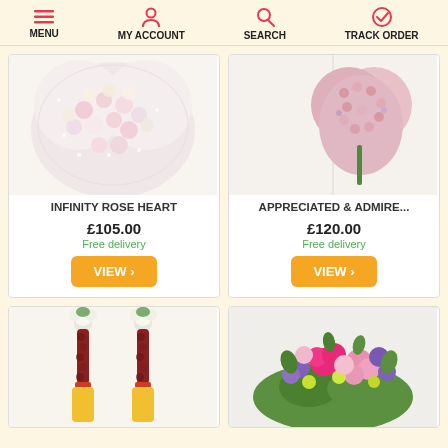MENU  MY ACCOUNT  SEARCH  TRACK ORDER
[Figure (photo): Heart-shaped arrangement of white and pink roses with baby's breath]
INFINITY ROSE HEART
£105.00
Free delivery
[Figure (photo): Heart-shaped arrangement of pink spray roses on white background]
APPRECIATED & ADMIRE...
£120.00
Free delivery
[Figure (photo): Two long flower garlands with white tops, brown middle and yellow bottom]
[Figure (photo): Colorful bouquet arrangement with pink, purple and yellow flowers]